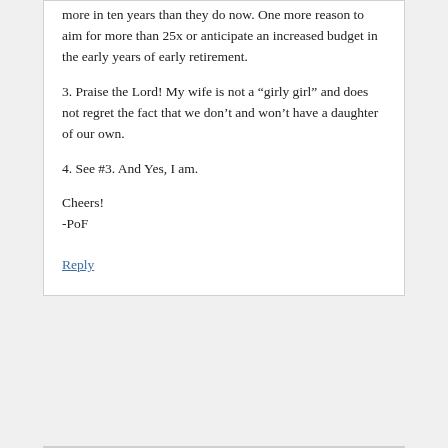more in ten years than they do now. One more reason to aim for more than 25x or anticipate an increased budget in the early years of early retirement.
3. Praise the Lord! My wife is not a “girly girl” and does not regret the fact that we don’t and won’t have a daughter of our own.
4. See #3. And Yes, I am.
Cheers!
-PoF
Reply